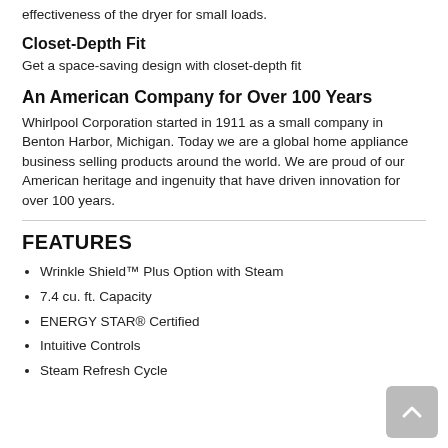effectiveness of the dryer for small loads.
Closet-Depth Fit
Get a space-saving design with closet-depth fit
An American Company for Over 100 Years
Whirlpool Corporation started in 1911 as a small company in Benton Harbor, Michigan. Today we are a global home appliance business selling products around the world. We are proud of our American heritage and ingenuity that have driven innovation for over 100 years.
FEATURES
Wrinkle Shield™ Plus Option with Steam
7.4 cu. ft. Capacity
ENERGY STAR® Certified
Intuitive Controls
Steam Refresh Cycle